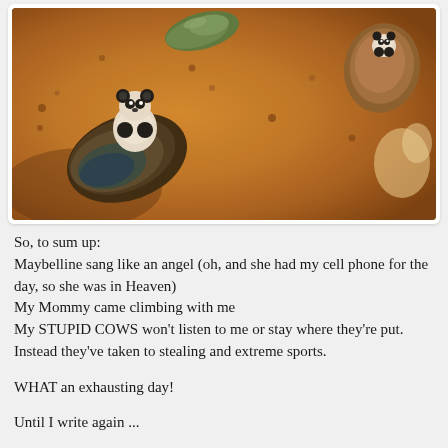[Figure (photo): Photo of toy cow figurines (panda-colored) placed on climbing wall holds on a brown/orange textured rock climbing wall surface. Green hold visible near top center, brown hold on right side.]
So, to sum up:
Maybelline sang like an angel (oh, and she had my cell phone for the day, so she was in Heaven)
My Mommy came climbing with me
My STUPID COWS won't listen to me or stay where they're put. Instead they've taken to stealing and extreme sports.

WHAT an exhausting day!

Until I write again ...

Flea